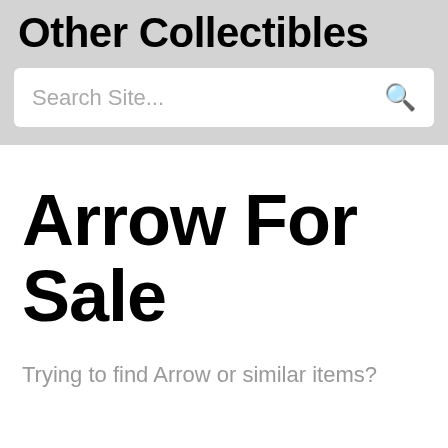Other Collectibles
Search Site...
Arrow For Sale
Trying to find Arrow or similar items?